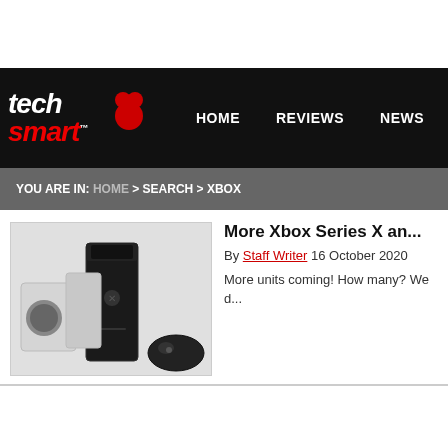tech smart — HOME | REVIEWS | NEWS | BU...
YOU ARE IN: HOME > SEARCH > XBOX
[Figure (photo): Photo of Xbox Series X and Xbox Series S consoles together against a white background]
More Xbox Series X an...
By Staff Writer 16 October 2020
More units coming! How many? We d...